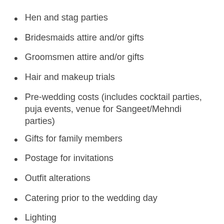Hen and stag parties
Bridesmaids attire and/or gifts
Groomsmen attire and/or gifts
Hair and makeup trials
Pre-wedding costs (includes cocktail parties, puja events, venue for Sangeet/Mehndi parties)
Gifts for family members
Postage for invitations
Outfit alterations
Catering prior to the wedding day
Lighting
Décor for other events
Thank you notes and cards
Emergencies (décor items you forgot to include, more alcohol, medical kit, makeup extras for